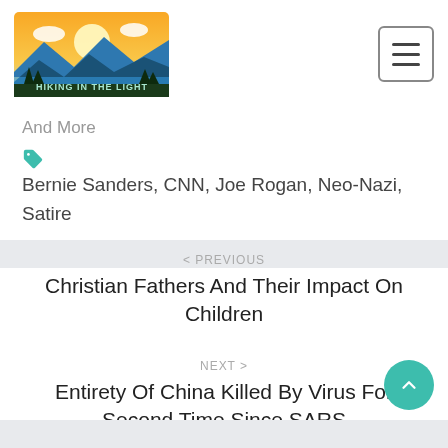HIKING IN THE LIGHT
And More
Bernie Sanders, CNN, Joe Rogan, Neo-Nazi, Satire
< PREVIOUS
Christian Fathers And Their Impact On Children
NEXT >
Entirety Of China Killed By Virus For Second Time Since SARS